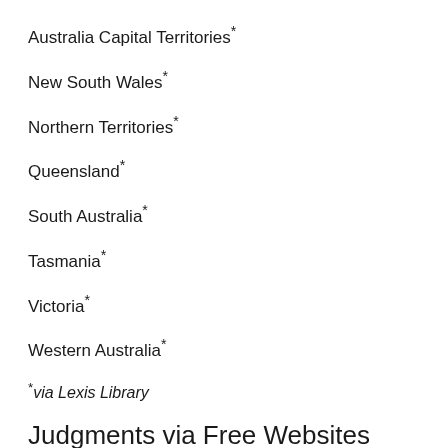Australia Capital Territories*
New South Wales*
Northern Territories*
Queensland*
South Australia*
Tasmania*
Victoria*
Western Australia*
*via Lexis Library
Judgments via Free Websites
Federal